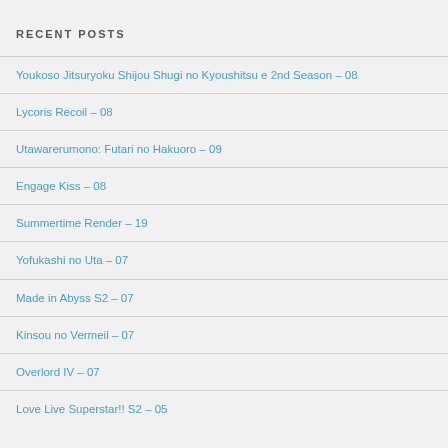RECENT POSTS
Youkoso Jitsuryoku Shijou Shugi no Kyoushitsu e 2nd Season – 08
Lycoris Recoil – 08
Utawarerumono: Futari no Hakuoro – 09
Engage Kiss – 08
Summertime Render – 19
Yofukashi no Uta – 07
Made in Abyss S2 – 07
Kinsou no Vermeil – 07
Overlord IV – 07
Love Live Superstar!! S2 – 05